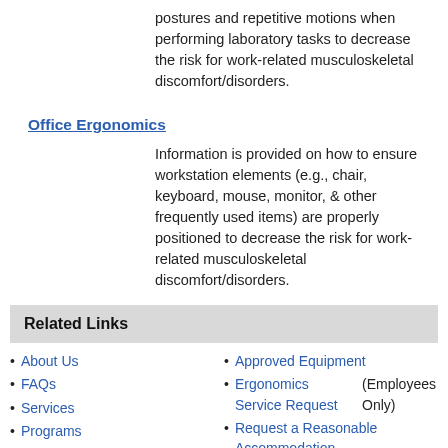postures and repetitive motions when performing laboratory tasks to decrease the risk for work-related musculoskeletal discomfort/disorders.
Office Ergonomics
Information is provided on how to ensure workstation elements (e.g., chair, keyboard, mouse, monitor, & other frequently used items) are properly positioned to decrease the risk for work-related musculoskeletal discomfort/disorders.
Related Links
About Us
FAQs
Services
Programs
Presentations and Handouts
Approved Equipment
Ergonomics Service Request (Employees Only)
Request a Reasonable Accommodation
Contact the USDA Target Center